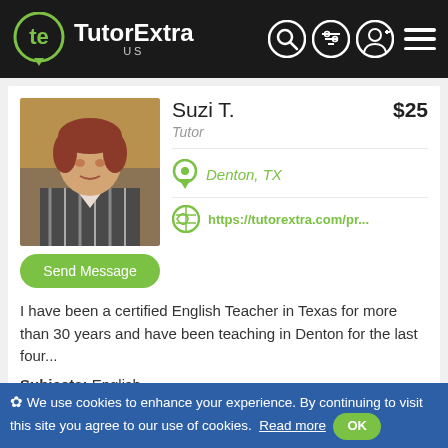[Figure (logo): TutorExtra US logo with green TE icon on black header bar with search, filter, profile, and hamburger menu icons]
Suzi T.
$25
Tutor
Denton, TX
https://tutorextra.com/pr...
[Figure (photo): Photo of Suzi T., an older woman with reddish-brown hair wearing a striped jacket]
Send Message
I have been a certified English Teacher in Texas for more than 30 years and have been teaching in Denton for the last four...
Subjects: English
Carly H.
$25-30
✿ We use cookies to enhance your experience. By continuing to visit this site you agree to our use of cookies.  Read more  OK